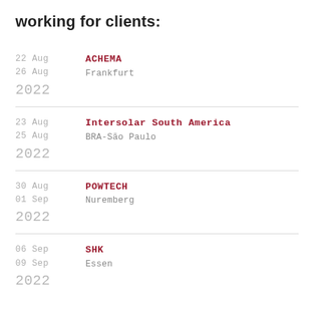working for clients:
22 Aug – 26 Aug 2022 | ACHEMA | Frankfurt
23 Aug – 25 Aug 2022 | Intersolar South America | BRA-São Paulo
30 Aug – 01 Sep 2022 | POWTECH | Nuremberg
06 Sep – 09 Sep 2022 | SHK | Essen